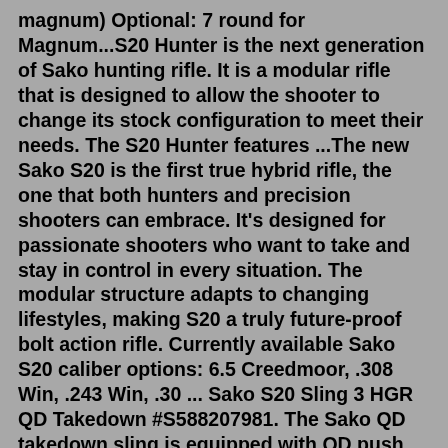magnum) Optional: 7 round for Magnum...S20 Hunter is the next generation of Sako hunting rifle. It is a modular rifle that is designed to allow the shooter to change its stock configuration to meet their needs. The S20 Hunter features ...The new Sako S20 is the first true hybrid rifle, the one that both hunters and precision shooters can embrace. It's designed for passionate shooters who want to take and stay in control in every situation. The modular structure adapts to changing lifestyles, making S20 a truly future-proof bolt action rifle. Currently available Sako S20 caliber options: 6.5 Creedmoor, .308 Win, .243 Win, .30 ... Sako S20 Sling 3 HGR QD Takedown #S588207981. The Sako QD takedown sling is equipped with QD push button swivels, which provides extreme versatility with the right type of sling. The 3HGR sling can be used in various ways; it can be tightened against the stock or open the lock and carry the rifle on the back or front -- muzzle down or up. These Sako 85s with a standard base factory use magazines come in a 5+1 configuration